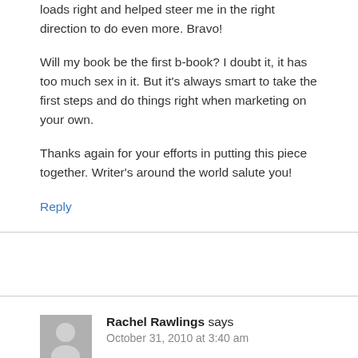loads right and helped steer me in the right direction to do even more. Bravo!
Will my book be the first b-book? I doubt it, it has too much sex in it. But it's always smart to take the first steps and do things right when marketing on your own.
Thanks again for your efforts in putting this piece together. Writer's around the world salute you!
Reply
Rachel Rawlings says
October 31, 2010 at 3:40 am